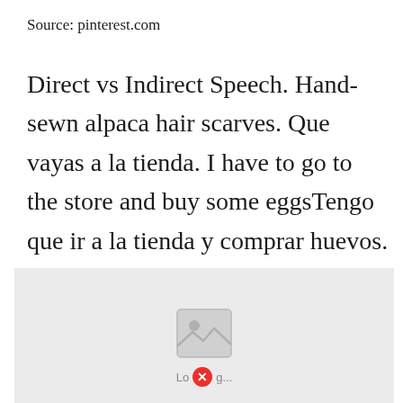Source: pinterest.com
Direct vs Indirect Speech. Hand-sewn alpaca hair scarves. Que vayas a la tienda. I have to go to the store and buy some eggsTengo que ir a la tienda y comprar huevos. De ir a la tienda.
[Figure (other): Broken image placeholder with loading error icon on a light gray background]